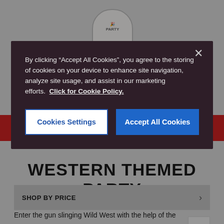[Figure (screenshot): Website screenshot showing Western Themed Party page with cookie consent modal overlay. Background shows a red navigation bar and grey page with logo at top.]
WESTERN THEMED PARTY
SHOP BY PRICE
Enter the gun slinging Wild West with the help of the
By clicking "Accept All Cookies", you agree to the storing of cookies on your device to enhance site navigation, analyze site usage, and assist in our marketing efforts.  Click for Cookie Policy.
Cookies Settings
Accept All Cookies